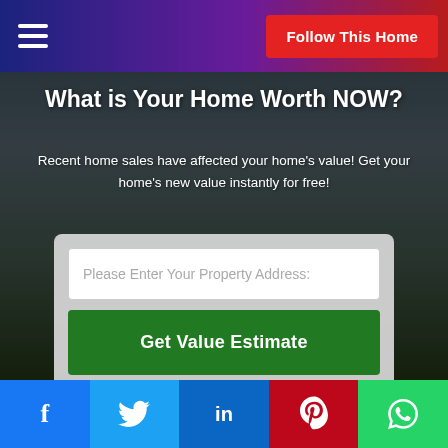Follow This Home
What is Your Home Worth NOW?
Recent home sales have affected your home's value! Get your home's new value instantly for free!
Please Enter Your Property Address:
Get Value Estimate
f  Twitter  in  Pinterest  WhatsApp